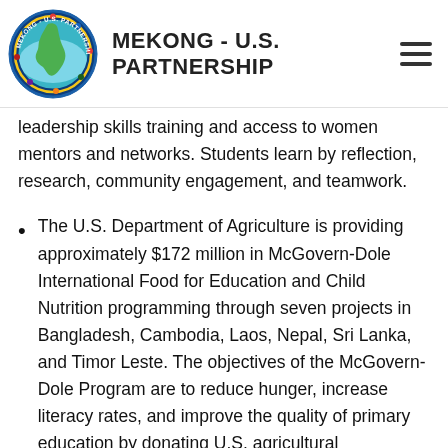MEKONG - U.S. PARTNERSHIP
leadership skills training and access to women mentors and networks. Students learn by reflection, research, community engagement, and teamwork.
The U.S. Department of Agriculture is providing approximately $172 million in McGovern-Dole International Food for Education and Child Nutrition programming through seven projects in Bangladesh, Cambodia, Laos, Nepal, Sri Lanka, and Timor Leste. The objectives of the McGovern-Dole Program are to reduce hunger, increase literacy rates, and improve the quality of primary education by donating U.S. agricultural commodities, as well as financial